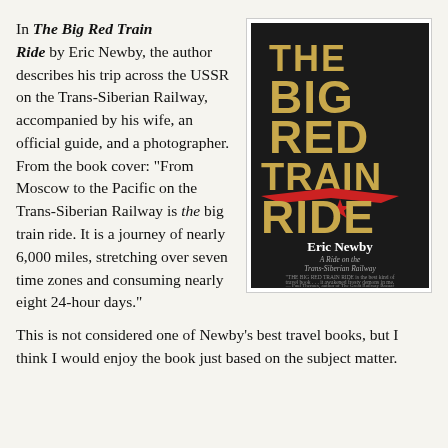In The Big Red Train Ride by Eric Newby, the author describes his trip across the USSR on the Trans-Siberian Railway, accompanied by his wife, an official guide, and a photographer. From the book cover: "From Moscow to the Pacific on the Trans-Siberian Railway is the big train ride. It is a journey of nearly 6,000 miles, stretching over seven time zones and consuming nearly eight 24-hour days." This is not considered one of Newby's best travel books, but I think I would enjoy the book just based on the subject matter.
[Figure (photo): Book cover of 'The Big Red Train Ride' by Eric Newby. Dark background with gold lettering for the title and a red star and swoosh design. Subtitle: 'A Ride on the Trans-Siberian Railway'. Quote from Paul Theroux at the bottom.]